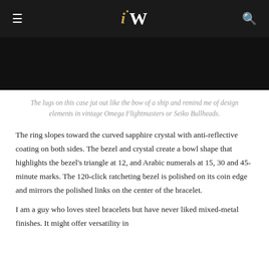iW
[Figure (photo): Dark/black background watch image (partial, top portion cut off)]
The lugs on this case jut out like the bow of a ship and remind me of design elements in vintage Omega Flightmasters or Seiko Bullheads.
The ring slopes toward the curved sapphire crystal with anti-reflective coating on both sides. The bezel and crystal create a bowl shape that highlights the bezel's triangle at 12, and Arabic numerals at 15, 30 and 45-minute marks. The 120-click ratcheting bezel is polished on its coin edge and mirrors the polished links on the center of the bracelet.
I am a guy who loves steel bracelets but have never liked mixed-metal finishes. It might offer versatility in